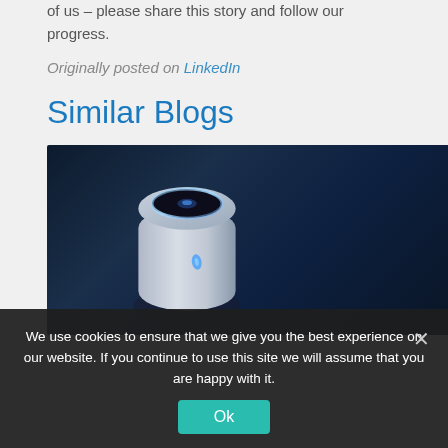of us – please share this story and follow our progress.
Originally posted on LinkedIn
Similar Blogs
[Figure (photo): A white cylindrical AI smart speaker device with blue glowing light ring on top and blue accent light on the body, set against a dark navy/blue background.]
We use cookies to ensure that we give you the best experience on our website. If you continue to use this site we will assume that you are happy with it.